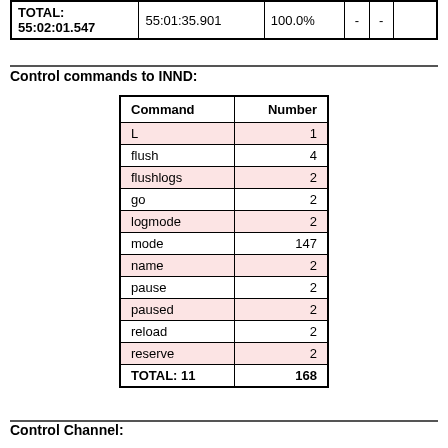| TOTAL: 55:02:01.547 | 55:01:35.901 | 100.0% | - | - |  |
| --- | --- | --- | --- | --- | --- |
Control commands to INND:
| Command | Number |
| --- | --- |
| L | 1 |
| flush | 4 |
| flushlogs | 2 |
| go | 2 |
| logmode | 2 |
| mode | 147 |
| name | 2 |
| pause | 2 |
| paused | 2 |
| reload | 2 |
| reserve | 2 |
| TOTAL: 11 | 168 |
Control Channel: